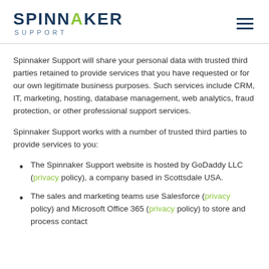SPINNAKER SUPPORT
Spinnaker Support will share your personal data with trusted third parties retained to provide services that you have requested or for our own legitimate business purposes. Such services include CRM, IT, marketing, hosting, database management, web analytics, fraud protection, or other professional support services.
Spinnaker Support works with a number of trusted third parties to provide services to you:
The Spinnaker Support website is hosted by GoDaddy LLC (privacy policy), a company based in Scottsdale USA.
The sales and marketing teams use Salesforce (privacy policy) and Microsoft Office 365 (privacy policy) to store and process contact